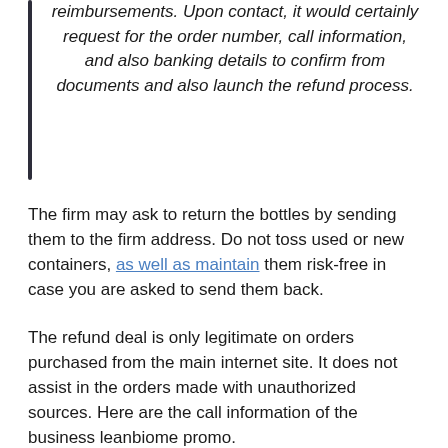reimbursements. Upon contact, it would certainly request for the order number, call information, and also banking details to confirm from documents and also launch the refund process.
The firm may ask to return the bottles by sending them to the firm address. Do not toss used or new containers, as well as maintain them risk-free in case you are asked to send them back.
The refund deal is only legitimate on orders purchased from the main internet site. It does not assist in the orders made with unauthorized sources. Here are the call information of the business leanbiome promo.